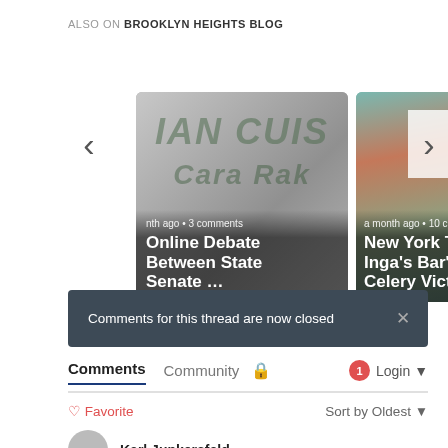ALSO ON BROOKLYN HEIGHTS BLOG
[Figure (photo): Carousel of two blog post cards. Left card shows a restaurant/deli image with text overlay: 'a month ago • 3 comments' and 'Online Debate Between State Senate ...'. Right card shows a building with teal storefront with text overlay: 'a month ago • 10 c' and 'New York Time Inga's Bar's Celery Victor...'. Navigation arrows on left and right sides.]
Comments for this thread are now closed
Comments  Community  🔒  🔴1  Login ▾
♡ Favorite    Sort by Oldest ▾
Karl Junkersfeld